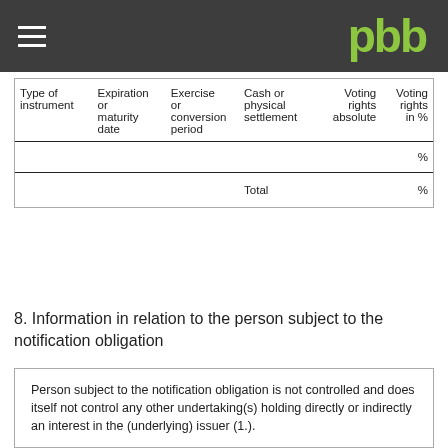pbb
| Type of instrument | Expiration or maturity date | Exercise or conversion period | Cash or physical settlement | Voting rights absolute | Voting rights in % |
| --- | --- | --- | --- | --- | --- |
|  |  |  |  |  | % |
|  |  |  | Total |  | % |
8. Information in relation to the person subject to the notification obligation
Person subject to the notification obligation is not controlled and does itself not control any other undertaking(s) holding directly or indirectly an interest in the (underlying) issuer (1.).